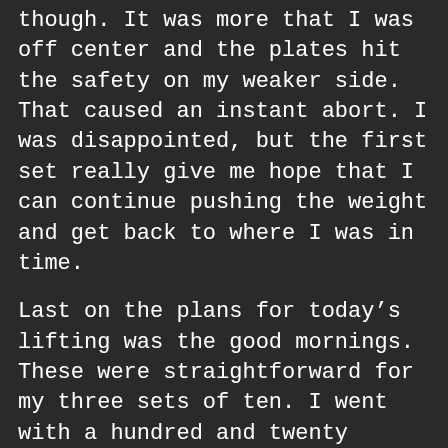though. It was more that I was off center and the plates hit the safety on my weaker side. That caused an instant abort. I was disappointed, but the first set really give me hope that I can continue pushing the weight and get back to where I was in time.
Last on the plans for today’s lifting was the good mornings. These were straightforward for my three sets of ten. I went with a hundred and twenty pounds, and they felt and looked solid.
I wasn’t feeling today’s WOD for today, so I went with a minute on, minute off rowing interval instead. That was more like what, I felt, would be a good idea. I did that and ended up getting about a hundred more meters in than the last couple of times. For whatever reason, I felt like I had much better